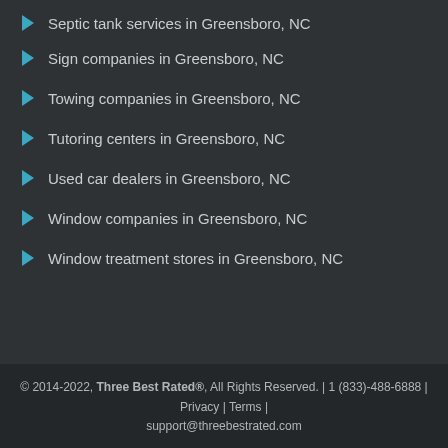Septic tank services in Greensboro, NC
Sign companies in Greensboro, NC
Towing companies in Greensboro, NC
Tutoring centers in Greensboro, NC
Used car dealers in Greensboro, NC
Window companies in Greensboro, NC
Window treatment stores in Greensboro, NC
© 2014-2022, Three Best Rated®, All Rights Reserved. | 1 (833)-488-6888 | Privacy | Terms | support@threebestrated.com